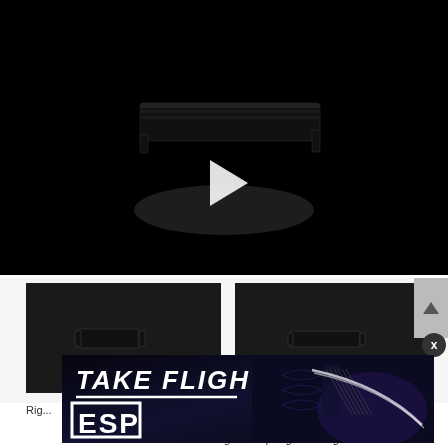[Figure (screenshot): Dark video player showing a black pedalboard/shelf product on black background with a white play button triangle in center]
[Figure (screenshot): Two thumbnail images side by side showing small black hardware product (guitar nut/bar) on dark backgrounds]
Rig...
[Figure (photo): ESP Guitars advertisement banner: 'TAKE FLIGHT' text with ESP logo and a dark blue quilted-top electric guitar (Megadeth Rig signature)]
Signature | Megadeth Rig